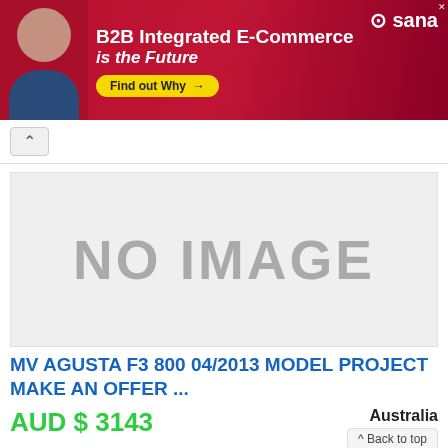[Figure (illustration): Advertisement banner for Sana Commerce: B2B Integrated E-Commerce is the Future, with woman portrait, yellow 'Find out Why' button, and Sana logo.]
[Figure (photo): No image placeholder: grey box with 'NO IMAGE' text in large grey letters.]
MV AGUSTA F3 800 04/2013 MODEL PROJECT MAKE AN OFFER ...
AUD $ 3143
Australia
^ Back to top
All bikes can be viewed and picked up from Campbellfield Vic - Any questions call Michael on 0412429170 Here at Adrenalin Performance Bikes we